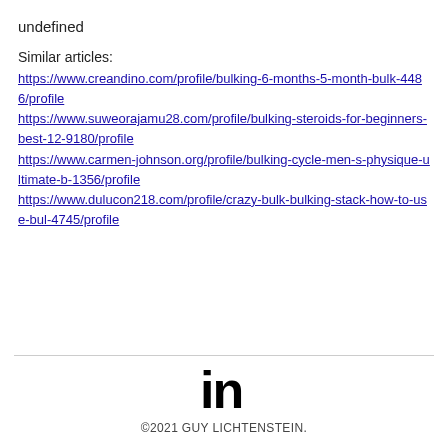undefined
Similar articles:
https://www.creandino.com/profile/bulking-6-months-5-month-bulk-4486/profile
https://www.suweorajamu28.com/profile/bulking-steroids-for-beginners-best-12-9180/profile
https://www.carmen-johnson.org/profile/bulking-cycle-men-s-physique-ultimate-b-1356/profile
https://www.dulucon218.com/profile/crazy-bulk-bulking-stack-how-to-use-bul-4745/profile
[Figure (logo): LinkedIn logo — stylized 'in' lettermark in black]
©2021 GUY LICHTENSTEIN.